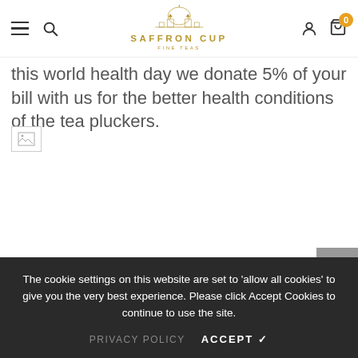Saffron Cup Fine Teas — navigation header with hamburger menu, search, logo, account icon, and cart (0)
this world health day we donate 5% of your bill with us for the better health conditions of the tea pluckers.
[Figure (photo): Broken/unloaded image placeholder (small image icon)]
The cookie settings on this website are set to 'allow all cookies' to give you the very best experience. Please click Accept Cookies to continue to use the site.
PRIVACY POLICY    ACCEPT ✔